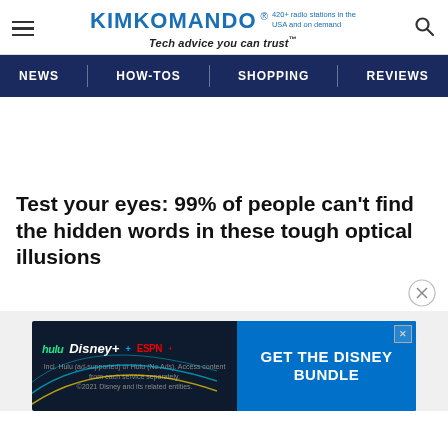KIMKOMANDO® 420+ radio stations in the USA and on demand Tech advice you can trust™
NEWS | HOW-TOS | SHOPPING | REVIEWS
Test your eyes: 99% of people can't find the hidden words in these tough optical illusions
[Figure (screenshot): GET THE DISNEY BUNDLE advertisement banner featuring Hulu, Disney+, and ESPN+ logos with text: Incl. Hulu (ad-supported) or Hulu (No Ads). Access content from each service separately. ©2021 Disney and its related entities.]